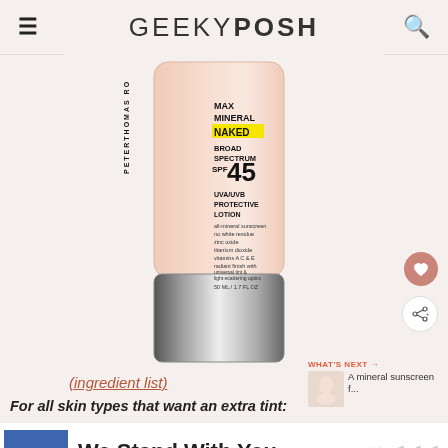GEEKYPOSH
[Figure (photo): Peter Thomas Roth Max Mineral Naked Broad Spectrum SPF 45 UVA/UVB Protective Lotion product bottle, peach/cream colored tube with silver cap, 50 mL / 1.7 FL OZ]
(ingredient list)
WHAT'S NEXT → A mineral sunscreen f...
For all skin types that want an extra tint:
[Figure (infographic): Advertisement banner with Ukrainian flag (blue and yellow), text: We Stand With You, with close X button and logo icon]